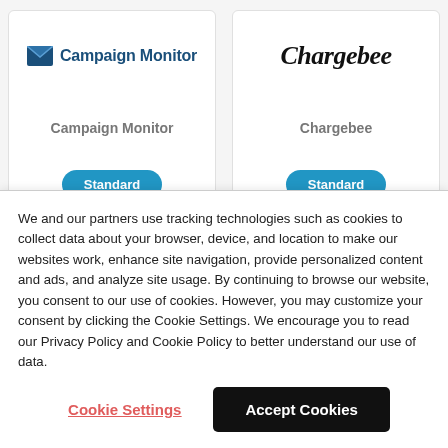[Figure (logo): Campaign Monitor logo with envelope icon and text, above 'Campaign Monitor' label and 'Standard' badge]
[Figure (logo): Chargebee logo in script font, above 'Chargebee' label and 'Standard' badge]
We and our partners use tracking technologies such as cookies to collect data about your browser, device, and location to make our websites work, enhance site navigation, provide personalized content and ads, and analyze site usage. By continuing to browse our website, you consent to our use of cookies. However, you may customize your consent by clicking the Cookie Settings. We encourage you to read our Privacy Policy and Cookie Policy to better understand our use of data.
Cookie Settings
Accept Cookies